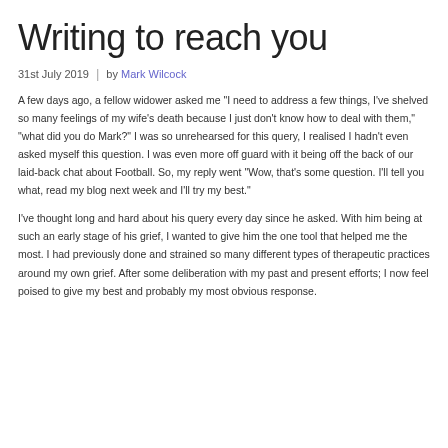Writing to reach you
31st July 2019  |  by Mark Wilcock
A few days ago, a fellow widower asked me "I need to address a few things, I've shelved so many feelings of my wife's death because I just don't know how to deal with them," "what did you do Mark?" I was so unrehearsed for this query, I realised I hadn't even asked myself this question. I was even more off guard with it being off the back of our laid-back chat about Football. So, my reply went "Wow, that's some question. I'll tell you what, read my blog next week and I'll try my best."
I've thought long and hard about his query every day since he asked. With him being at such an early stage of his grief, I wanted to give him the one tool that helped me the most. I had previously done and strained so many different types of therapeutic practices around my own grief. After some deliberation with my past and present efforts; I now feel poised to give my best and probably my most obvious response.